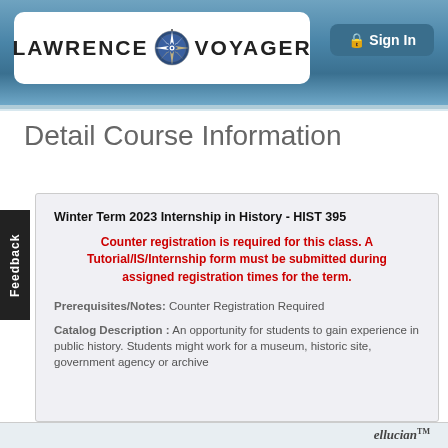[Figure (logo): Lawrence Voyager logo with compass rose star emblem in a rounded rectangle, with Sign In button to the right]
Detail Course Information
Winter Term 2023 Internship in History - HIST 395
Counter registration is required for this class. A Tutorial/IS/Internship form must be submitted during assigned registration times for the term.
Prerequisites/Notes: Counter Registration Required
Catalog Description : An opportunity for students to gain experience in public history. Students might work for a museum, historic site, government agency or archive
ellucian™